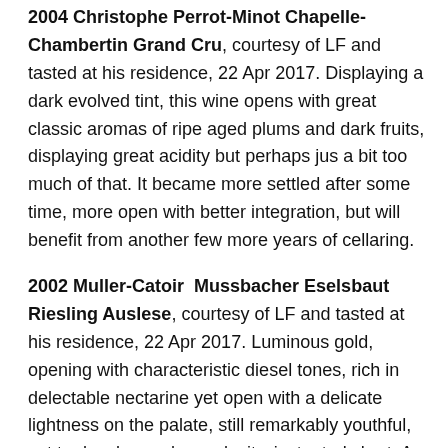2004 Christophe Perrot-Minot Chapelle-Chambertin Grand Cru, courtesy of LF and tasted at his residence, 22 Apr 2017. Displaying a dark evolved tint, this wine opens with great classic aromas of ripe aged plums and dark fruits, displaying great acidity but perhaps jus a bit too much of that. It became more settled after some time, more open with better integration, but will benefit from another few more years of cellaring.
2002 Muller-Catoir  Mussbacher Eselsbaut Riesling Auslese, courtesy of LF and tasted at his residence, 22 Apr 2017. Luminous gold, opening with characteristic diesel tones, rich in delectable nectarine yet open with a delicate lightness on the palate, still remarkably youthful, yet to develop real complexity, just a tad short. A demure beauty.